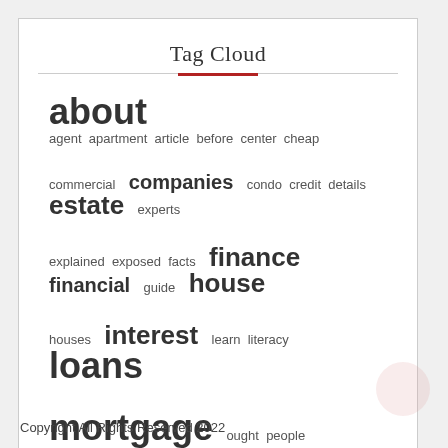Tag Cloud
[Figure (infographic): A tag cloud showing finance-related keywords in varying font sizes indicating frequency/importance. Words include: about, agent, apartment, article, before, center, cheap, commercial, companies, condo, credit, details, estate, experts, explained, exposed, facts, finance, financial, guide, house, houses, interest, learn, literacy, loans, mortgage, ought, people, personal, property, questions, refinance, report, revealed, reveals, secret, secrets, should, simple, strategies, student, today, truth, ultimate]
Copyright All Rights Reserved 2022